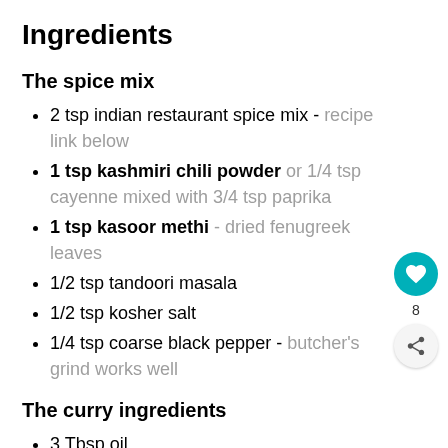Ingredients
The spice mix
2 tsp indian restaurant spice mix - recipe link below
1 tsp kashmiri chili powder or 1/4 tsp cayenne mixed with 3/4 tsp paprika
1 tsp kasoor methi - dried fenugreek leaves
1/2 tsp tandoori masala
1/2 tsp kosher salt
1/4 tsp coarse black pepper - butcher's grind works well
The curry ingredients
3 Tbsp oil